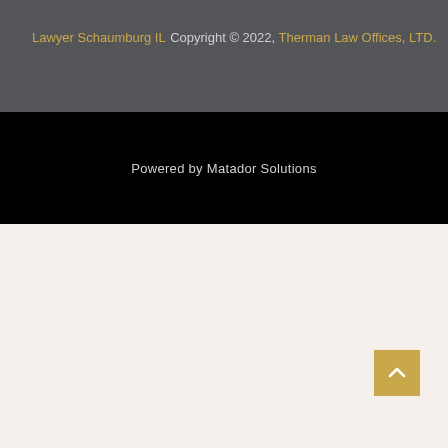Lawyer Schaumburg IL
Copyright © 2022, Therman Law Offices, LTD.
Powered by Matador Solutions